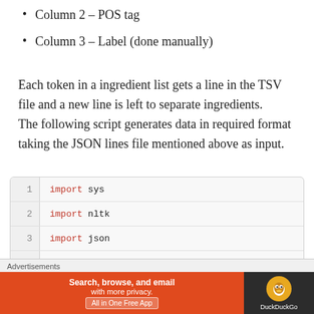Column 2 – POS tag
Column 3 – Label (done manually)
Each token in a ingredient list gets a line in the TSV file and a new line is left to separate ingredients. The following script generates data in required format taking the JSON lines file mentioned above as input.
[Figure (screenshot): Code block showing Python script lines 1-7: import sys, import nltk, import json, blank line, for line in sys.stdin:, data = json.loads(line), partial line 7 for ingredient in data['ingredients']:]
Advertisements
[Figure (other): DuckDuckGo advertisement banner: Search, browse, and email with more privacy. All in One Free App. DuckDuckGo logo on dark background.]